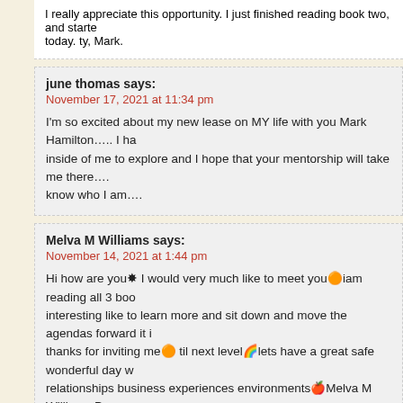I really appreciate this opportunity. I just finished reading book two, and started today. ty, Mark.
june thomas says:
November 17, 2021 at 11:34 pm
I'm so excited about my new lease on MY life with you Mark Hamilton….. I ha inside of me to explore and I hope that your mentorship will take me there…. know who I am….
Melva M Williams says:
November 14, 2021 at 1:44 pm
Hi how are you🌺 I would very much like to meet you🟠iam reading all 3 boo interesting like to learn more and sit down and move the agendas forward it i thanks for inviting me🟠 til next level🌈lets have a great safe wonderful day w relationships business experiences environments🍎Melva M Williams Peace
Joseph Higbee says:
November 12, 2021 at 8:11 pm
Your writings have opened my mind to great possibilities. I have long been